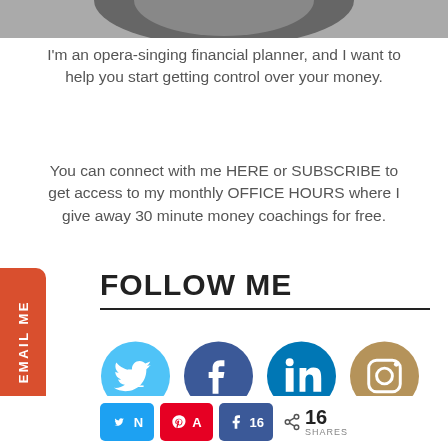[Figure (photo): Partial photo of a person at the top of the page, cropped, dark tones]
I'm an opera-singing financial planner, and I want to help you start getting control over your money.
You can connect with me HERE or SUBSCRIBE to get access to my monthly OFFICE HOURS where I give away 30 minute money coachings for free.
FOLLOW ME
[Figure (infographic): Row of four social media circle icons: Twitter (light blue), Facebook (dark blue), LinkedIn (teal), Instagram (tan/gold)]
[Figure (infographic): Share bar with Twitter button, Pinterest button, Facebook share button with count 16, and total shares count 16 SHARES]